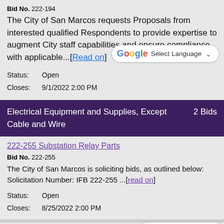Bid No. 222-194
The City of San Marcos requests Proposals from interested qualified Respondents to provide expertise to augment City staff capabilities and ensure compliance with applicable...[Read on]
Status: Open
Closes: 9/1/2022 2:00 PM
[Figure (screenshot): Google Translate 'Select Language' dropdown button]
Electrical Equipment and Supplies, Except Cable and Wire  2 Bids
222-255 Substation Relay Parts
Bid No. 222-255
The City of San Marcos is soliciting bids, as outlined below: Solicitation Number: IFB 222-255 ...[read on]
Status: Open
Closes: 8/25/2022 2:00 PM
[Figure (screenshot): Questions? chat bubble popup with close X button and mascot dragon image]
Sale of Transformers
Bid No. 222-261